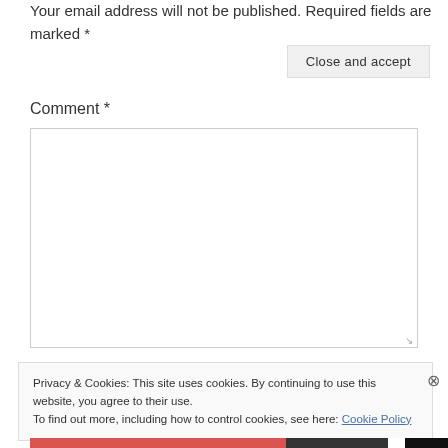Your email address will not be published. Required fields are marked *
Comment *
[Figure (other): Comment text area input box]
Privacy & Cookies: This site uses cookies. By continuing to use this website, you agree to their use.
To find out more, including how to control cookies, see here: Cookie Policy
Close and accept